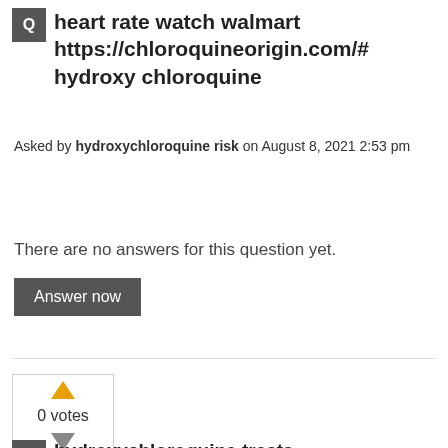heart rate watch walmart https://chloroquineorigin.com/# hydroxychloroquine
Asked by hydroxychloroquine risk on August 8, 2021 2:53 pm
There are no answers for this question yet.
Answer now
[Figure (other): Vote box with up arrow (orange), 0 votes, down arrow (grey)]
hydroxychloroquine treats https://pharmaceptica.com/
Asked by pharmaceptica.com on July 4, 2021 12:45 pm
There are no answers for this question yet.